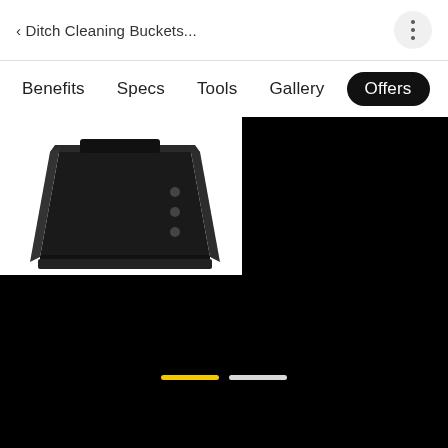< Ditch Cleaning Buckets...
Benefits
Specs
Tools
Gallery
Offers (active)
[Figure (photo): Black ditch cleaning bucket attachment shown from an angle, against white background, with a dark black area to the right representing a gallery/slide view. Carousel indicators at the bottom show two pills: one yellow (active) and one white.]